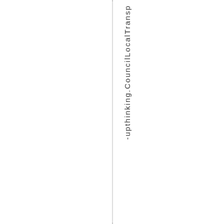-upthinking.CouncilLocalTransp